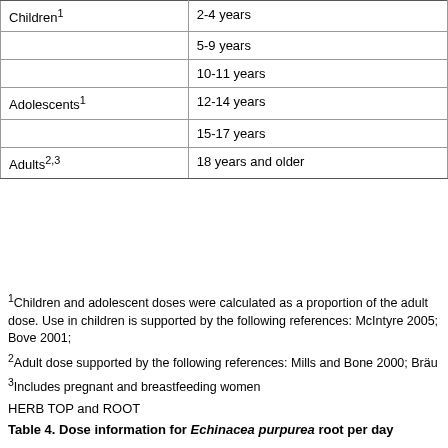| Category | Age Range |
| --- | --- |
| Children1 | 2-4 years |
|  | 5-9 years |
|  | 10-11 years |
| Adolescents1 | 12-14 years |
|  | 15-17 years |
| Adults2,3 | 18 years and older |
1Children and adolescent doses were calculated as a proportion of the adult dose. Use in children is supported by the following references: McIntyre 2005; Bove 2001;
2Adult dose supported by the following references: Mills and Bone 2000; Bräu...
3Includes pregnant and breastfeeding women
HERB TOP and ROOT
Table 4. Dose information for Echinacea purpurea root per day